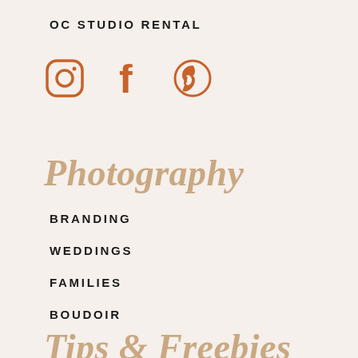OC STUDIO RENTAL
[Figure (illustration): Three social media icons in orange: Instagram (rounded square with circle), Facebook (f letterform), Pinterest (P in circle)]
Photography
BRANDING
WEDDINGS
FAMILIES
BOUDOIR
Tips & Freebies